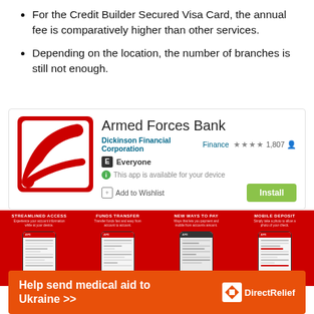For the Credit Builder Secured Visa Card, the annual fee is comparatively higher than other services.
Depending on the location, the number of branches is still not enough.
[Figure (screenshot): Google Play Store listing for Armed Forces Bank app by Dickinson Financial Corporation, rated 4 stars with 1,807 ratings, Finance category, Everyone audience rating, available for device, with Install button.]
[Figure (screenshot): Four phone screenshots showing Armed Forces Bank app features: Streamlined Access, Funds Transfer, New Ways to Pay, and Mobile Deposit, each with a red background and phone mockup.]
[Figure (infographic): Orange banner ad: Help send medical aid to Ukraine >> with Direct Relief logo.]